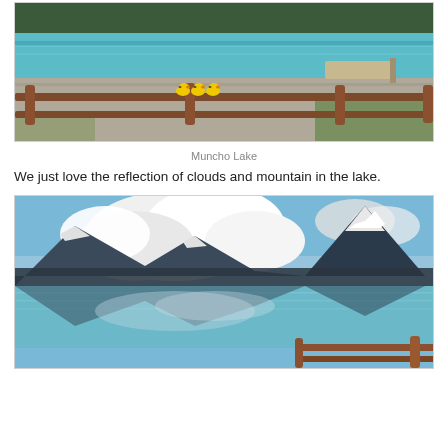[Figure (photo): Photo of Muncho Lake shoreline with turquoise water, a wooden fence/railing in the foreground, three small rubber ducks on the railing, a sandy/rocky beach, and forested hills in the background.]
Muncho Lake
We just love the reflection of clouds and mountain in the lake.
[Figure (photo): Photo of Muncho Lake showing a wide panoramic view with snow-capped mountains, large white clouds reflected in the turquoise lake water, and a wooden railing visible in the lower right corner.]